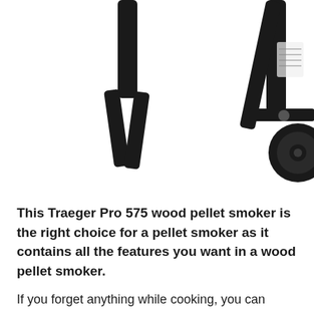[Figure (photo): Photo showing the lower portion of a Traeger Pro 575 wood pellet smoker, displaying the black metal legs and wheels of the grill cart against a white background.]
This Traeger Pro 575 wood pellet smoker is the right choice for a pellet smoker as it contains all the features you want in a wood pellet smoker.
If you forget anything while cooking, you can quickly go back to the store while your meat is cooking as its Wi-Fi support control helps you control it from far away and with that. It has a good utensil space, vast cooking space, protection for